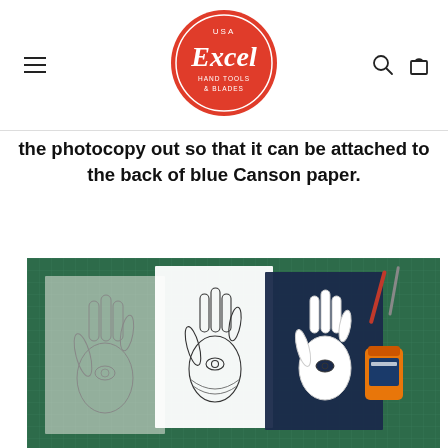USA Excel Hand Tools & Blades
the photocopy out so that it can be attached to the back of blue Canson paper.
[Figure (photo): Three stages of a hamsa hand paper cutting craft project on a green cutting mat: pencil sketch on grey paper (left), line art photocopy on white paper (center), and cut-out attached to dark blue paper (right), with a jar of glue and craft tools visible.]